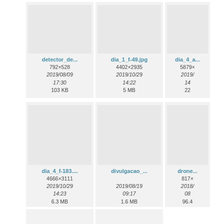[Figure (screenshot): File browser grid view showing image thumbnails with filenames, dimensions, dates, times, and file sizes. Row 1: detector_de... (792×528, 2019/08/09 17:30, 103 KB), dia_1_f-49.jpg (4402×2935, 2019/10/29 14:22, 5 MB), dia_4_a... (5879×..., 2019/... 14..., 22...). Row 2: dia_4_f-183.... (4666×3111, 2019/10/29 14:23, 6.3 MB), divulgacao_... (2019/08/19 09:17, 1.6 MB), drone... (817×..., 2018/... 08..., 96.4...). Row 3: two more partially visible cells.]